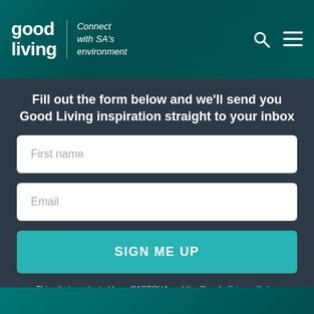[Figure (logo): Good Living logo with tagline 'Connect with SA's environment' and search/menu icons in teal header]
Fill out the form below and we'll send you Good Living inspiration straight to your inbox
First name
Email
SIGN ME UP
This site is protected by reCAPTCHA and the Google Privacy Policy and Terms of Service apply.